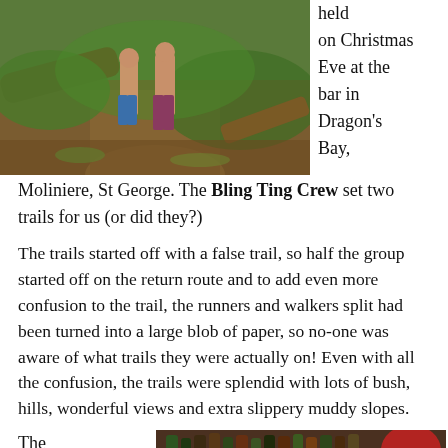[Figure (photo): Two people walking on a dirt trail through lush tropical forest/bush]
held on Christmas Eve at the bar in Dragon's Bay, Moliniere, St George. The Bling Ting Crew set two trails for us (or did they?)
The trails started off with a false trail, so half the group started off on the return route and to add even more confusion to the trail, the runners and walkers split had been turned into a large blob of paper, so no-one was aware of what trails they were actually on! Even with all the confusion, the trails were splendid with lots of bush, hills, wonderful views and extra slippery muddy slopes.
The Christmas after hash lime was
[Figure (photo): Three smiling women posing together at a bar, bottles visible in background]